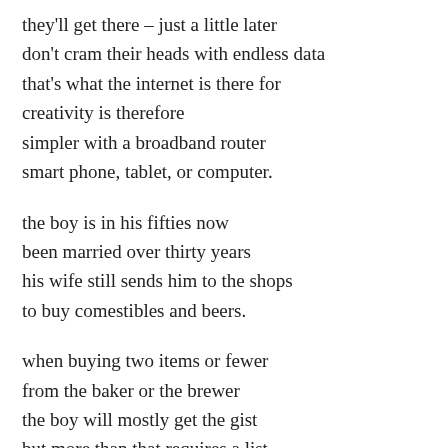they'll get there – just a little later
don't cram their heads with endless data
that's what the internet is there for
creativity is therefore
simpler with a broadband router
smart phone, tablet, or computer.

the boy is in his fifties now
been married over thirty years
his wife still sends him to the shops
to buy comestibles and beers.

when buying two items or fewer
from the baker or the brewer
the boy will mostly get the gist
but more than that requires a list.

his true love is a patient soul
she knows his foibles and his quirks